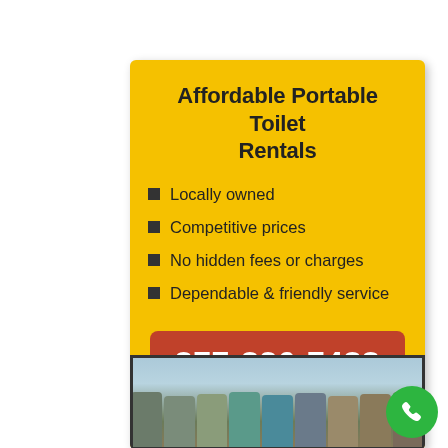Affordable Portable Toilet Rentals
Locally owned
Competitive prices
No hidden fees or charges
Dependable & friendly service
877-826-7488
[Figure (photo): Row of portable toilets lined up outdoors near water]